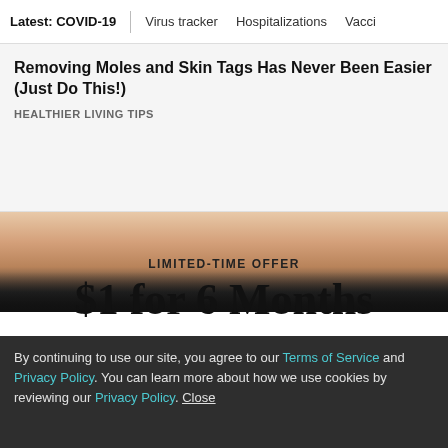Latest: COVID-19 | Virus tracker | Hospitalizations | Vacci
Removing Moles and Skin Tags Has Never Been Easier (Just Do This!)
HEALTHIER LIVING TIPS
[Figure (photo): Close-up photo of a person's face showing forehead and eyebrows, used in a health/beauty advertisement]
LIMITED-TIME OFFER
$1 for 6 Months
SUBSCRIBE NOW
By continuing to use our site, you agree to our Terms of Service and Privacy Policy. You can learn more about how we use cookies by reviewing our Privacy Policy. Close